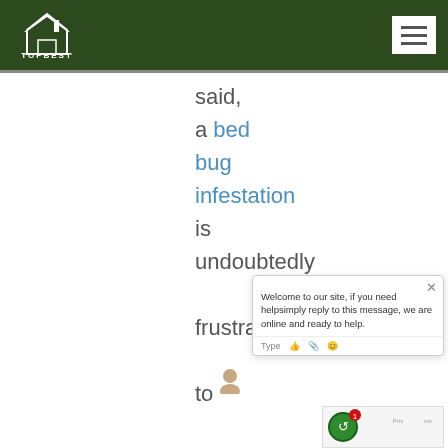TOPBEST
said, a bed bug infestation is undoubtedly frustrating to deal with because information regarding
[Figure (screenshot): Chat widget popup saying: Welcome to our site, if you need helpsimply reply to this message, we are online and ready to help. With Type input field and emoji/attachment icons.]